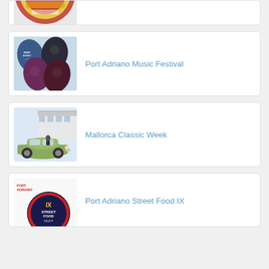[Figure (illustration): Partial top card showing a circular logo/badge with colorful design, only bottom portion visible]
[Figure (illustration): Port Adriano Music Festival card with guitar pick shaped images of musicians]
Port Adriano Music Festival
[Figure (illustration): Mallorca Classic Week card showing a vintage green classic car near a marina building]
Mallorca Classic Week
[Figure (illustration): Port Adriano Street Food IX card with circular logo showing 'IX Street Food' night market badge and Port Adriano text logo]
Port Adriano Street Food IX